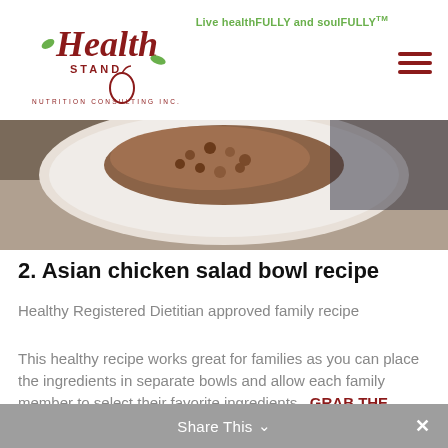Health Stand Nutrition Consulting Inc. — Live healthFULLY and soulFULLY™
[Figure (photo): Top-down photo of a white bowl with Asian chicken salad ingredients on a wooden table background]
2. Asian chicken salad bowl recipe
Healthy Registered Dietitian approved family recipe
This healthy recipe works great for families as you can place the ingredients in separate bowls and allow each family member to select their favorite ingredients.  GRAB THE RECIPE
Share This ∨  ✕